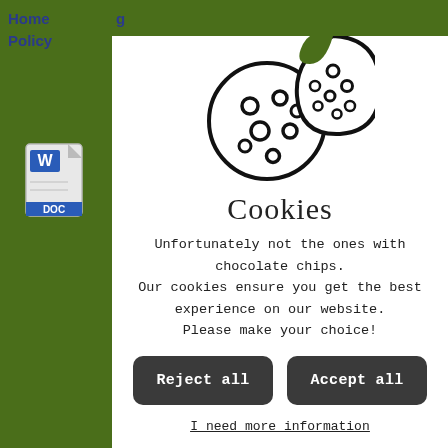Home  Policy
[Figure (illustration): Cookie icon showing two overlapping round cookies with chocolate chip dots, one with a bite taken out of the top right]
Cookies
Unfortunately not the ones with chocolate chips.
Our cookies ensure you get the best experience on our website.
Please make your choice!
Reject all
Accept all
I need more information